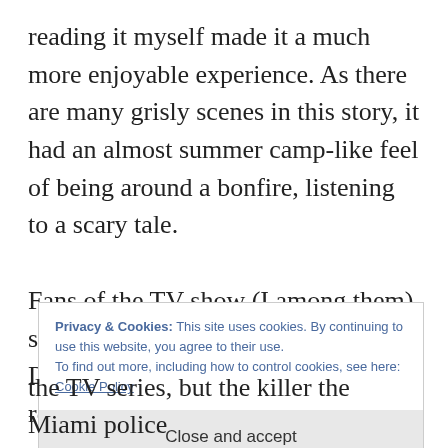reading it myself made it a much more enjoyable experience. As there are many grisly scenes in this story, it had an almost summer camp-like feel of being around a bonfire, listening to a scary tale.

Fans of the TV show (I among them) should take note: this is book 2 in the Dexter series and bears almost no resemblance to season 2 of the s
Privacy & Cookies: This site uses cookies. By continuing to use this website, you agree to their use.
To find out more, including how to control cookies, see here: Cookie Policy
Close and accept
the TV series, but the killer the Miami police